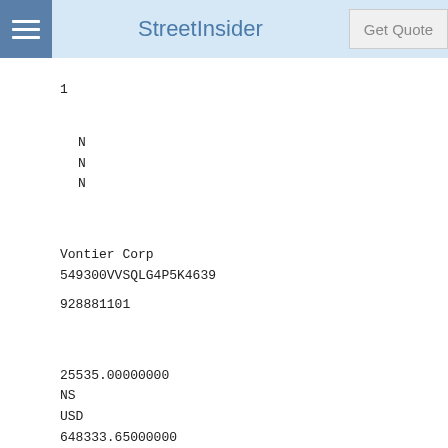StreetInsider | Get Quote
1
N
N
N
Vontier Corp
549300VVSQLG4P5K4639
928881101
25535.00000000
NS
USD
648333.65000000
0.020193547278
Long
EC